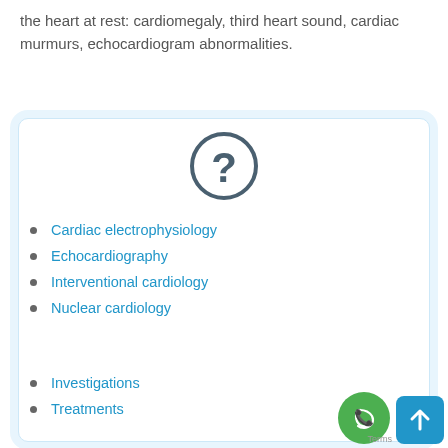the heart at rest: cardiomegaly, third heart sound, cardiac murmurs, echocardiogram abnormalities.
[Figure (illustration): Question mark icon inside a circle, dark gray stroke, on white background inside a light blue bordered card]
Cardiac electrophysiology
Echocardiography
Interventional cardiology
Nuclear cardiology
Investigations
Treatments